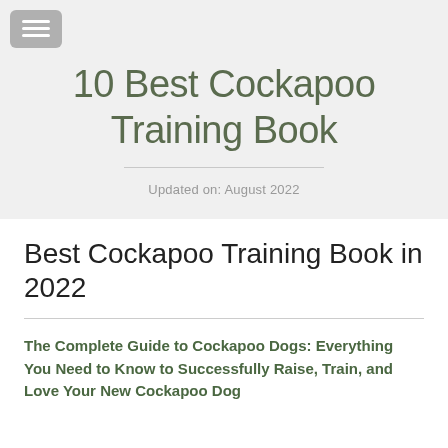[Figure (other): Hamburger menu button icon (three horizontal lines on grey rounded rectangle background)]
10 Best Cockapoo Training Book
Updated on: August 2022
Best Cockapoo Training Book in 2022
The Complete Guide to Cockapoo Dogs: Everything You Need to Know to Successfully Raise, Train, and Love Your New Cockapoo Dog